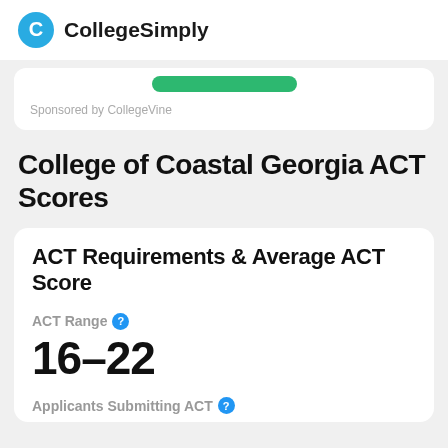CollegeSimply
Sponsored by CollegeVine
College of Coastal Georgia ACT Scores
ACT Requirements & Average ACT Score
ACT Range
16-22
Applicants Submitting ACT